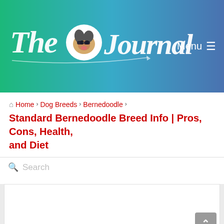The Journal — Menu
Home > Dog Breeds > Bernedoodle > Standard Bernedoodle Breed Info | Pros, Cons, Health, and Diet
Standard Bernedoodle Breed Info | Pros, Cons, Health, and Diet
Search
[Figure (other): White content card placeholder area with scroll-to-top button in gray]